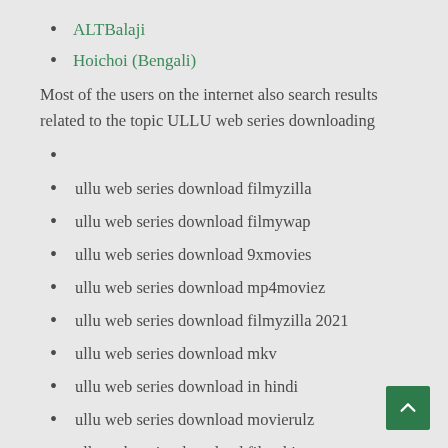ALTBalaji
Hoichoi (Bengali)
Most of the users on the internet also search results related to the topic ULLU web series downloading
ullu web series download filmyzilla
ullu web series download filmywap
ullu web series download 9xmovies
ullu web series download mp4moviez
ullu web series download filmyzilla 2021
ullu web series download mkv
ullu web series download in hindi
ullu web series download movierulz
ullu web series download filmyhit
ullu web series download moviesflix